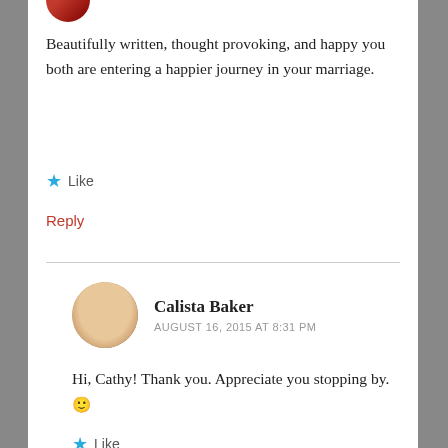[Figure (photo): Partial circular avatar image at top, red/dark colored]
Beautifully written, thought provoking, and happy you both are entering a happier journey in your marriage.
★ Like
Reply
[Figure (photo): Circular avatar photo of a blonde woman, Calista Baker]
Calista Baker
AUGUST 16, 2015 AT 8:31 PM
Hi, Cathy! Thank you. Appreciate you stopping by. 🙂
★ Like